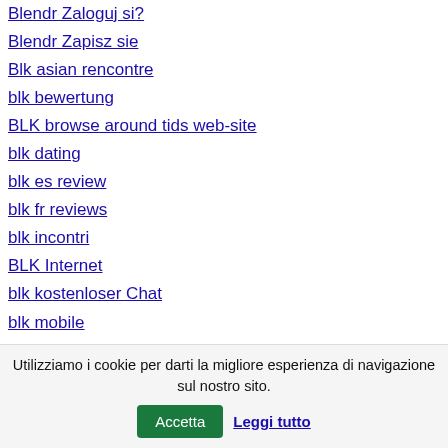Blendr Zaloguj si?
Blendr Zapisz sie
Blk asian rencontre
blk bewertung
BLK browse around tids web-site
blk dating
blk es review
blk fr reviews
blk incontri
BLK Internet
blk kostenloser Chat
blk mobile
blk pl review
Blk rencontre
blk review
Utilizziamo i cookie per darti la migliore esperienza di navigazione sul nostro sito. Accetta Leggi tutto